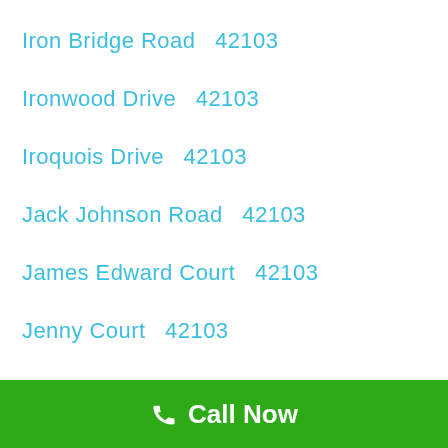Iron Bridge Road   42103
Ironwood Drive   42103
Iroquois Drive   42103
Jack Johnson Road   42103
James Edward Court   42103
Jenny Court   42103
Call Now